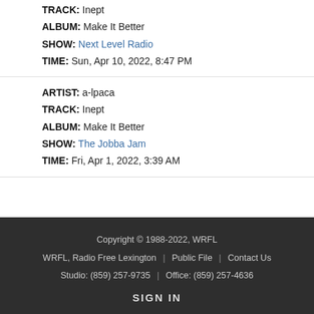TRACK: Inept
ALBUM: Make It Better
SHOW: Next Level Radio
TIME: Sun, Apr 10, 2022, 8:47 PM
ARTIST: a-lpaca
TRACK: Inept
ALBUM: Make It Better
SHOW: The Jobba Jam
TIME: Fri, Apr 1, 2022, 3:39 AM
Copyright © 1988-2022, WRFL
WRFL, Radio Free Lexington | Public File | Contact Us
Studio: (859) 257-9735 | Office: (859) 257-4636
SIGN IN